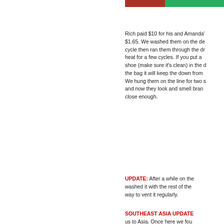[Figure (photo): Partial photo strip at top right showing red and green colors]
Rich paid $10 for his and Amanda's $1.65.  We washed them on the delicate cycle then ran them through the dryer on low heat for a few cycles.  If you put a tennis shoe (make sure it's clean) in the dryer with the bag it will keep the down from clumping. We hung them on the line for two sunny days and now they look and smell brand new, or close enough.
UPDATE:  After a while on the trail we washed it with the rest of the laundry. Best way to vent it regularly.
SOUTHEAST ASIA UPDATE: us to Asia.  Once here we found from the bed bugs in the cheap "in between" towns.  Below a liners like the one we purchased reason these cost a fortune a